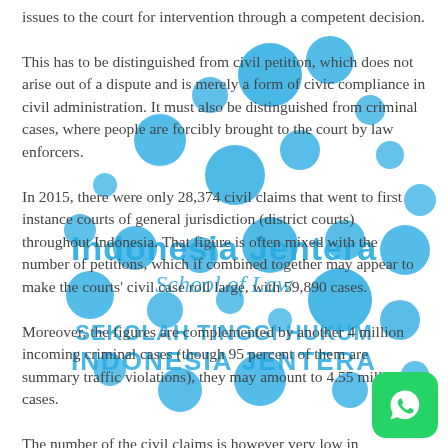issues to the court for intervention through a competent decision. This has to be distinguished from civil petition, which does not arise out of a dispute and is merely a form of civic compliance in civil administration. It must also be distinguished from criminal cases, where people are forcibly brought to the court by law enforcers. In 2015, there were only 28,374 civil claims that went to first instance courts of general jurisdiction (district courts) throughout Indonesia. That figure is often mixed with the number of petitions, which if combined together may appear to make the courts' civil case roll large, with 59,890 cases. Moreover, the figures are complemented by another 4 million incoming criminal cases (though 95 percent of them are summary traffic violations), they may amount to 4.55 million cases. The number of the civil claims is however very low in comparison to almost 60 million micro, small and
[Figure (logo): Indonesia Jentera School of Law watermark with blue circles pattern and SEKOLAH TINGGI HUKUM INDONESIA JENTERA text overlay]